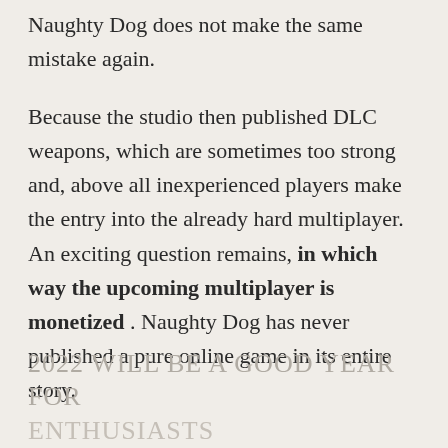Naughty Dog does not make the same mistake again.
Because the studio then published DLC weapons, which are sometimes too strong and, above all inexperienced players make the entry into the already hard multiplayer. An exciting question remains, in which way the upcoming multiplayer is monetized . Naughty Dog has never published a pure online game in its entire story.
2022 WILL BE A GOOD YEAR FOR